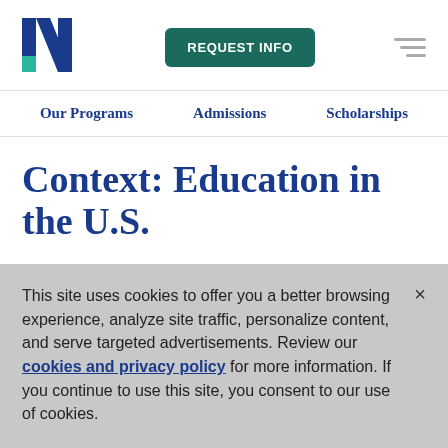[Figure (logo): University logo — stylized dark blue and teal 'N' letterform]
REQUEST INFO
Our Programs   Admissions   Scholarships
Context: Education in the U.S.
This site uses cookies to offer you a better browsing experience, analyze site traffic, personalize content, and serve targeted advertisements. Review our cookies and privacy policy for more information. If you continue to use this site, you consent to our use of cookies.